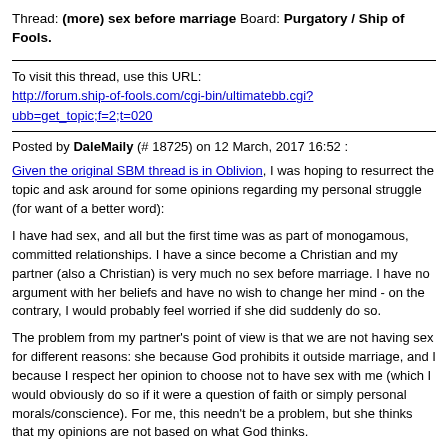Thread: (more) sex before marriage Board: Purgatory / Ship of Fools.
To visit this thread, use this URL:
http://forum.ship-of-fools.com/cgi-bin/ultimatebb.cgi?ubb=get_topic;f=2;t=020
Posted by DaleMaily (# 18725) on 12 March, 2017 16:52 :
Given the original SBM thread is in Oblivion, I was hoping to resurrect the topic and ask around for some opinions regarding my personal struggle (for want of a better word):
I have had sex, and all but the first time was as part of monogamous, committed relationships. I have a since become a Christian and my partner (also a Christian) is very much no sex before marriage. I have no argument with her beliefs and have no wish to change her mind - on the contrary, I would probably feel worried if she did suddenly do so.
The problem from my partner's point of view is that we are not having sex for different reasons: she because God prohibits it outside marriage, and I because I respect her opinion to choose not to have sex with me (which I would obviously do so if it were a question of faith or simply personal morals/conscience). For me, this needn't be a problem, but she thinks that my opinions are not based on what God thinks.
I would say my opinions on sex and marriage are somewhat liberal-traditional: I think one night stands (I don't like the word "promiscuity" as it